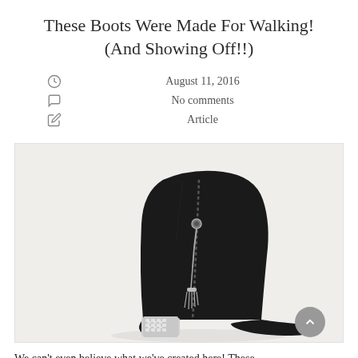These Boots Were Made For Walking! (And Showing Off!!)
August 11, 2016
No comments
Article
[Figure (photo): A black ankle boot with a rhinestone-studded block heel and a decorative zipper tassel on the side zipper, photographed against a light background.]
We can't even believe what we've created here! These